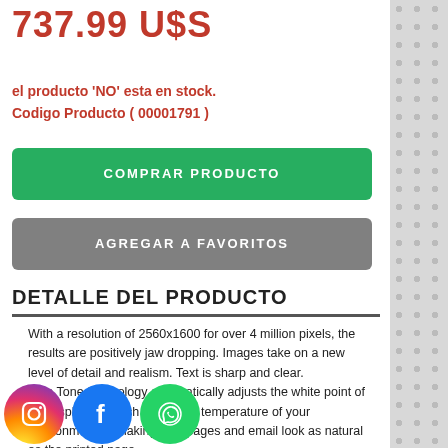737.99 U$S
el producto 'NO' esta en stock.
Codigo Producto ( 00001791 )
COMPRAR PRODUCTO
AGREGAR A FAVORITOS
DETALLE DEL PRODUCTO
With a resolution of 2560x1600 for over 4 million pixels, the results are positively jaw dropping. Images take on a new level of detail and realism. Text is sharp and clear. True Tone technology automatically adjusts the white point of the display to match the colour temperature of your environment — making web pages and email look as natural as the printed page. With 40 per cent more colours than the previous generation, every image you see is rich and vibrant. The display glass goes all the way to the edge of the enclosure, making the borders 50 per cent thinner than before. So you can focus on what's on
[Figure (illustration): Social media icons: Instagram, Facebook, WhatsApp]